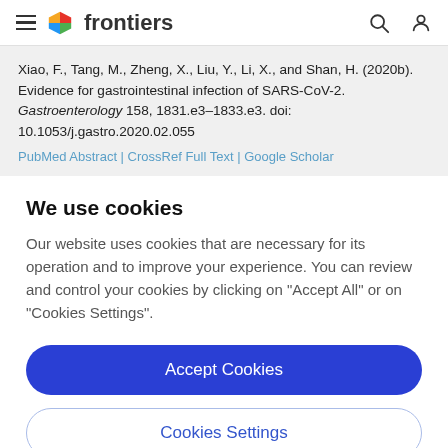frontiers
Xiao, F., Tang, M., Zheng, X., Liu, Y., Li, X., and Shan, H. (2020b). Evidence for gastrointestinal infection of SARS-CoV-2. Gastroenterology 158, 1831.e3–1833.e3. doi: 10.1053/j.gastro.2020.02.055
PubMed Abstract | CrossRef Full Text | Google Scholar
We use cookies
Our website uses cookies that are necessary for its operation and to improve your experience. You can review and control your cookies by clicking on "Accept All" or on "Cookies Settings".
Accept Cookies
Cookies Settings